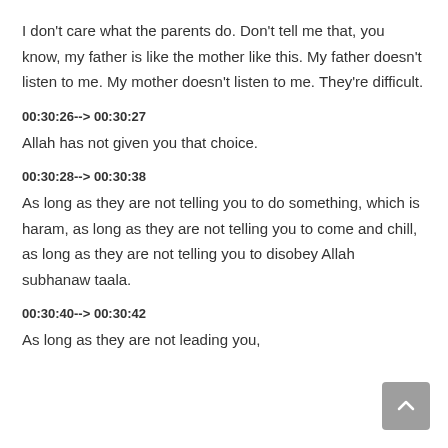I don't care what the parents do. Don't tell me that, you know, my father is like the mother like this. My father doesn't listen to me. My mother doesn't listen to me. They're difficult.
00:30:26--> 00:30:27
Allah has not given you that choice.
00:30:28--> 00:30:38
As long as they are not telling you to do something, which is haram, as long as they are not telling you to come and chill, as long as they are not telling you to disobey Allah subhanaw taala.
00:30:40--> 00:30:42
As long as they are not leading you,
[Figure (other): Scroll-to-top button, grey rounded square with upward chevron arrow]